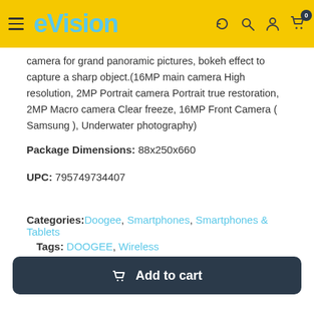eVision
camera for grand panoramic pictures, bokeh effect to capture a sharp object.(16MP main camera High resolution, 2MP Portrait camera Portrait true restoration, 2MP Macro camera Clear freeze, 16MP Front Camera ( Samsung ), Underwater photography)
Package Dimensions: 88x250x660
UPC: 795749734407
Categories: Doogee, Smartphones, Smartphones & Tablets
Tags: DOOGEE, Wireless
Add to cart